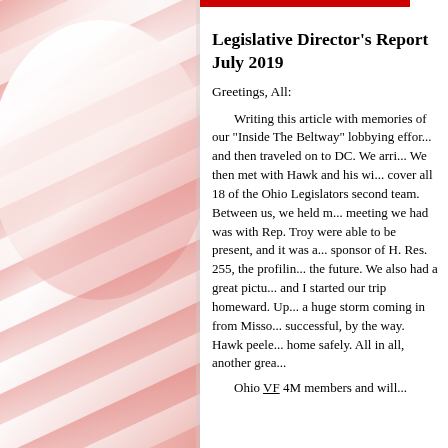[Figure (photo): American flag background photo in pink/red tones on the left side of the page]
Legislative Director's Report July 2019
Greetings, All:
Writing this article with memories of our "Inside The Beltway" lobbying effort. and then traveled on to DC. We arri... We then met with Hawk and his wi... cover all 18 of the Ohio Legislators second team. Between us, we held m... meeting we had was with Rep. Troy were able to be present, and it was a... sponsor of H. Res. 255, the profilin... the future. We also had a great pictu... and I started our trip homeward. Up... a huge storm coming in from Misso... successful, by the way. Hawk peele... home safely. All in all, another grea...